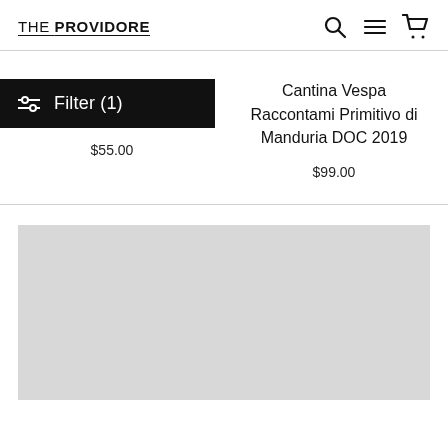THE PROVIDORE
[Figure (screenshot): Filter button (black) with slider icon and text 'Filter (1)']
$55.00
Cantina Vespa Raccontami Primitivo di Manduria DOC 2019
$99.00
[Figure (photo): Gray placeholder image block for a product]